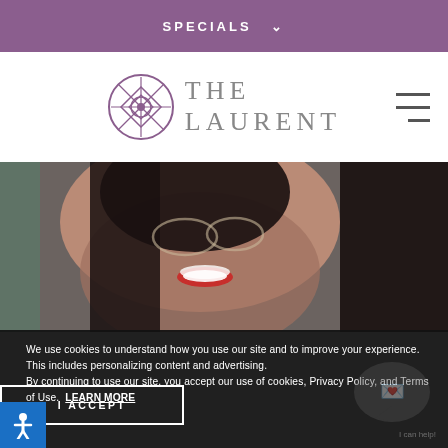SPECIALS
[Figure (logo): The Laurent hotel logo with geometric diamond/snowflake purple icon and text THE LAURENT in grey serif letters]
[Figure (photo): Close-up photo of a smiling woman with glasses and red lipstick, dark hair, in a social gathering]
We use cookies to understand how you use our site and to improve your experience. This includes personalizing content and advertising.
By continuing to use our site, you accept our use of cookies, Privacy Policy, and Terms of Use. LEARN MORE
I ACCEPT